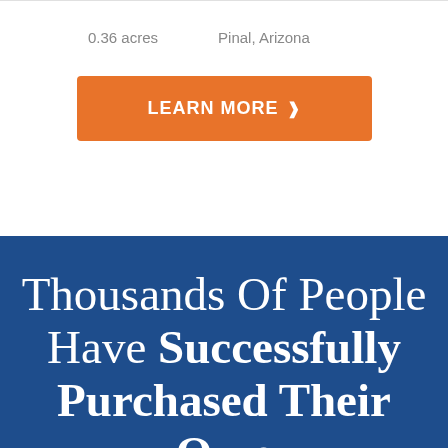0.36 acres    Pinal,  Arizona
LEARN MORE ❯
Thousands Of People Have Successfully Purchased Their Own